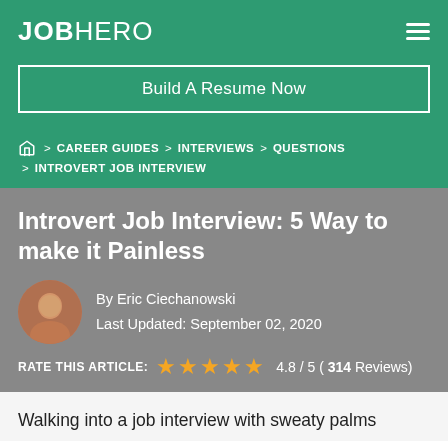JOBHERO
Build A Resume Now
> CAREER GUIDES > INTERVIEWS > QUESTIONS > INTROVERT JOB INTERVIEW
Introvert Job Interview: 5 Way to make it Painless
By Eric Ciechanowski
Last Updated: September 02, 2020
RATE THIS ARTICLE: 4.8 / 5 ( 314 Reviews)
Walking into a job interview with sweaty palms